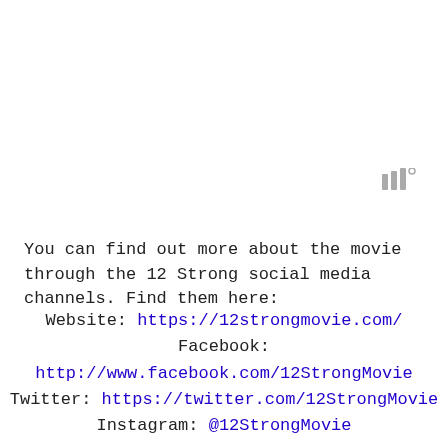[Figure (other): Small gray signal/bars icon in upper right area of page]
You can find out more about the movie through the 12 Strong social media channels. Find them here:
Website: https://12strongmovie.com/
Facebook:
http://www.facebook.com/12StrongMovie
Twitter: https://twitter.com/12StrongMovie
Instagram: @12StrongMovie